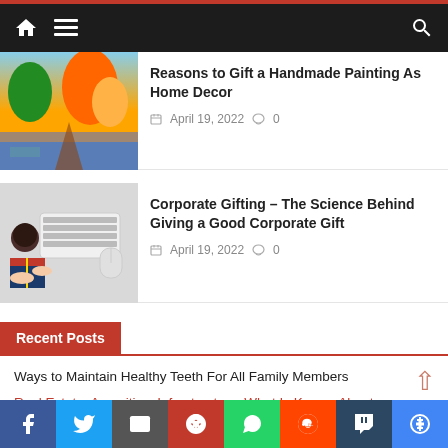Navigation bar with home, menu, and search icons
[Figure (photo): Handmade landscape painting thumbnail showing trees, river, sky in warm autumn colors]
Reasons to Gift a Handmade Painting As Home Decor
April 19, 2022   0
[Figure (photo): Corporate gifting photo showing hands with gift box, keyboard, coffee cup and mouse on desk]
Corporate Gifting – The Science Behind Giving a Good Corporate Gift
April 19, 2022   0
Recent Posts
Ways to Maintain Healthy Teeth For All Family Members
Real Estate, Amenities, Infrastructure: What Is Known About
How Can CBD Oil Treat Sleep Disorders?